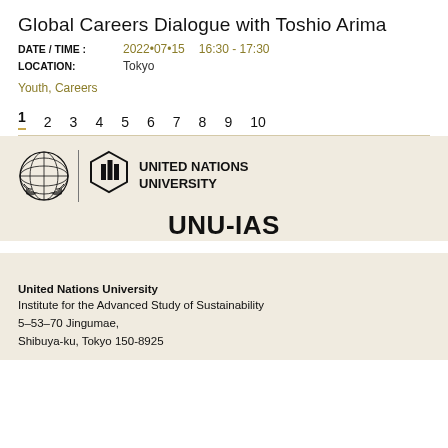Global Careers Dialogue with Toshio Arima
DATE / TIME : 2022•07•15  16:30 - 17:30
LOCATION: Tokyo
Youth, Careers
1  2  3  4  5  6  7  8  9  10
[Figure (logo): United Nations University UNU-IAS logo with UN emblem and UNU graphic mark]
United Nations University
Institute for the Advanced Study of Sustainability
5–53–70 Jingumae,
Shibuya-ku, Tokyo 150-8925